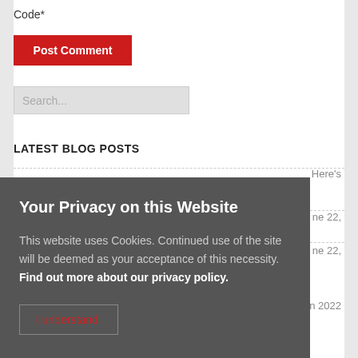Code*
Post Comment
Search...
LATEST BLOG POSTS
Here's
ne 22,
ne 22,
gy in 2022
Fintech is the Future, Here's Everything You Need
[Figure (screenshot): Privacy cookie consent overlay with title 'Your Privacy on this Website', body text about cookies, 'Find out more about our privacy policy' link, and 'I understand.' button]